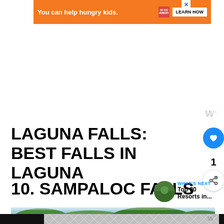[Figure (screenshot): Orange advertisement banner: 'You can help hungry kids.' with No Kid Hungry logo and LEARN HOW button, with X close button]
LAGUNA FALLS: BEST FALLS IN LAGUNA
10. SAMPALOC FALLS
WHAT'S NEXT → Top 20 Resorts in...
[Figure (photo): Green tree canopy photograph at bottom of page, partially visible]
Watermark/branding logo repeated at bottom